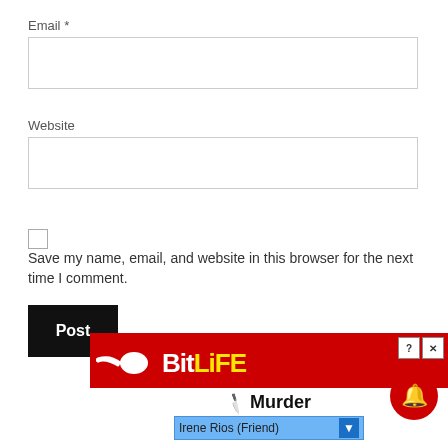Email *
[Figure (screenshot): Email input text field, empty, with border]
Website
[Figure (screenshot): Website input text field, empty, with border]
Save my name, email, and website in this browser for the next time I comment.
[Figure (screenshot): Black Post Comment button]
[Figure (screenshot): BitLife advertisement banner showing Murder screen with Irene Rios (Friend) dropdown]